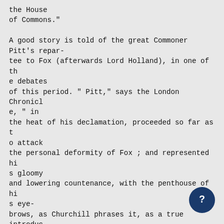the House of Commons."

A good story is told of the great Commoner Pitt's repar-
tee to Fox (afterwards Lord Holland), in one of the debates
of this period. " Pitt," says the London Chronicle, " in
the heat of his declamation, proceeded so far as to attack
the personal deformity of Fox ; and represented his gloomy
and lowering countenance, with the penthouse of his eye-
brows, as Churchill phrases it, as a true introduction of his
dark and double mind. Mr. Fox was nettled at this per-
sonal reflection, and the more so, perhaps, that it was as
just as it was eutting. He therefore got up, after in-
veighing bitterly against the indecency of his ant